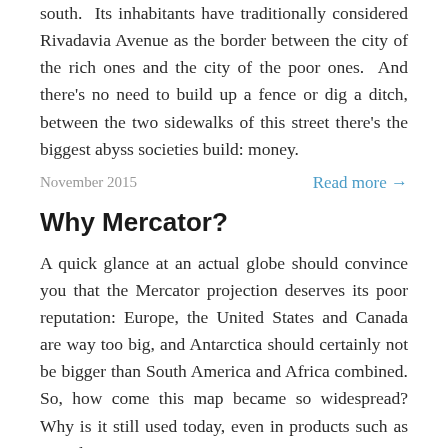south. Its inhabitants have traditionally considered Rivadavia Avenue as the border between the city of the rich ones and the city of the poor ones. And there's no need to build up a fence or dig a ditch, between the two sidewalks of this street there's the biggest abyss societies build: money.
November 2015
Read more →
Why Mercator?
A quick glance at an actual globe should convince you that the Mercator projection deserves its poor reputation: Europe, the United States and Canada are way too big, and Antarctica should certainly not be bigger than South America and Africa combined. So, how come this map became so widespread? Why is it still used today, even in products such as Google Maps?